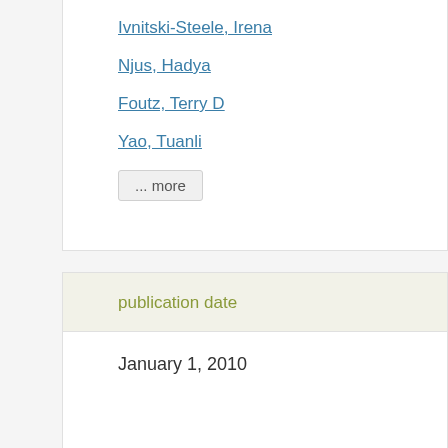Ivnitski-Steele, Irena
Njus, Hadya
Foutz, Terry D
Yao, Tuanli
... more
publication date
January 1, 2010